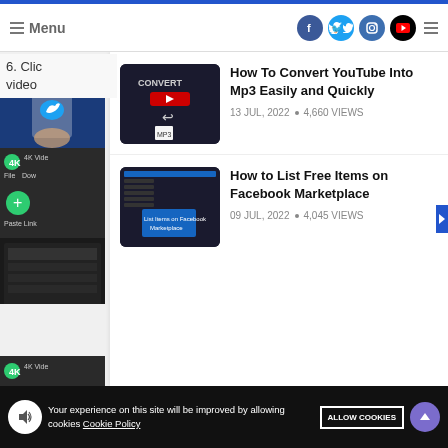Menu
6. Click
video
[Figure (screenshot): Twitter app screenshot with a hand holding a phone displaying Twitter bird logo on blue background]
[Figure (screenshot): 4K Video Downloader software interface showing File, Download menus, green plus button, Paste Link option, and a file path D:/dd/T]
How To Convert YouTube Into Mp3 Easily and Quickly
13 JUL, 2022 • 4,660 VIEWS
[Figure (screenshot): Dark-themed screen showing YouTube to MP3 conversion interface with CONVERT label, YouTube red play button, and music note icon]
How to List Free Items on Facebook Marketplace
09 JUL, 2022 • 4,045 VIEWS
[Figure (screenshot): Dark screenshot showing Facebook Marketplace listing interface with a dialog box saying List Items on Facebook Marketplace]
Your experience on this site will be improved by allowing cookies Cookie Policy ALLOW COOKIES